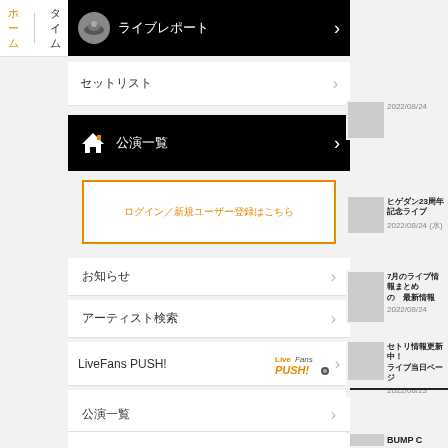ホーム タイム
ライブレポート
セットリスト
公演一覧
ログイン／新規ユーザー登録はこちら
お知らせ
アーティスト検索
LiveFans PUSH!
プッシュ通知設定
公演一覧
2022/08/24
ヒゲダン23周年記念ライブ 2022/08/24 (水)
7月のライブ情報まとめ の 最新情報 2022/08/24
セトリ情報更新中！ライブ当日ページ 2022/08/23
BUMP C